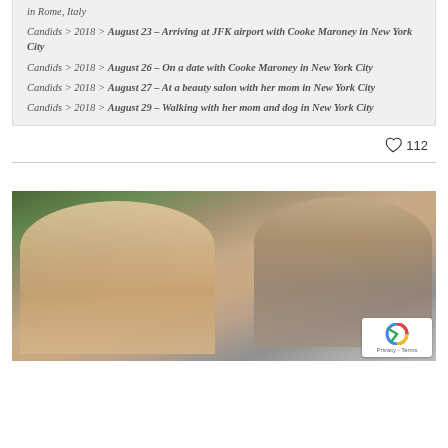Candids > 2018 > August 23 – Arriving at JFK airport with Cooke Maroney in New York City
Candids > 2018 > August 26 – On a date with Cooke Maroney in New York City
Candids > 2018 > August 27 – At a beauty salon with her mom in New York City
Candids > 2018 > August 29 – Walking with her mom and dog in New York City
112
[Figure (photo): Photo of a blonde woman wearing round sunglasses and a man with a beard wearing sunglasses and a white shirt, outdoors with green foliage in the background. A reCAPTCHA badge is visible in the bottom right corner.]